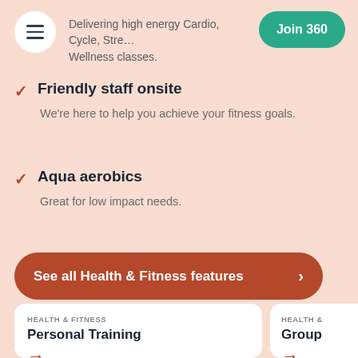Delivering high energy Cardio, Cycle, Strength, Wellness classes.
Join 360
Friendly staff onsite — We're here to help you achieve your fitness goals.
Aqua aerobics — Great for low impact needs.
See all Health & Fitness features
HEALTH & FITNESS — Personal Training
HEALTH & — Group